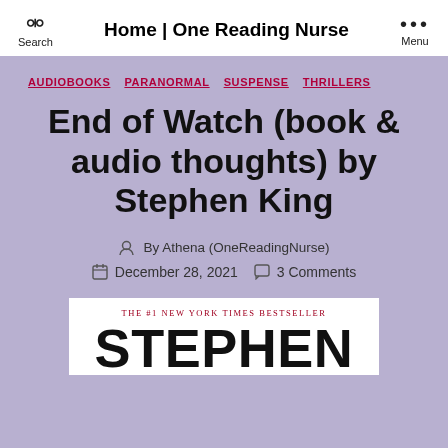Search | Home | One Reading Nurse | Menu
AUDIOBOOKS  PARANORMAL  SUSPENSE  THRILLERS
End of Watch (book & audio thoughts) by Stephen King
By Athena (OneReadingNurse)
December 28, 2021  3 Comments
[Figure (photo): Book cover of End of Watch by Stephen King — white background with red text THE #1 NEW YORK TIMES BESTSELLER above large bold text STEPHEN in black]